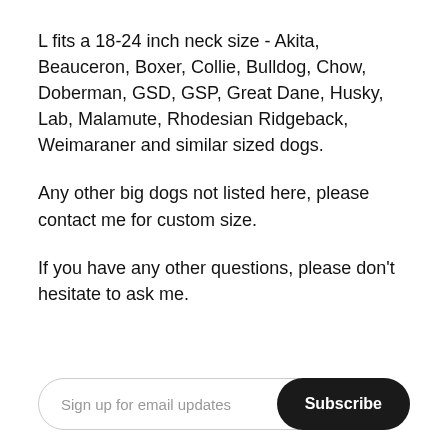L fits a 18-24 inch neck size - Akita, Beauceron, Boxer, Collie, Bulldog, Chow, Doberman, GSD, GSP, Great Dane, Husky, Lab, Malamute, Rhodesian Ridgeback, Weimaraner and similar sized dogs.
Any other big dogs not listed here, please contact me for custom size.
If you have any other questions, please don't hesitate to ask me.
Sign up for email updates
Subscribe